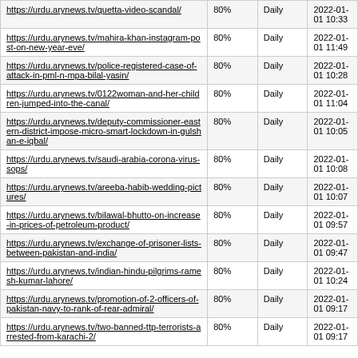| URL | Score | Frequency | Date |
| --- | --- | --- | --- |
| https://urdu.arynews.tv/quetta-video-scandal/ | 80% | Daily | 2022-01-01 10:33 |
| https://urdu.arynews.tv/mahira-khan-instagram-post-on-new-year-eve/ | 80% | Daily | 2022-01-01 11:49 |
| https://urdu.arynews.tv/police-registered-case-of-attack-in-pml-n-mpa-bilal-yasin/ | 80% | Daily | 2022-01-01 10:28 |
| https://urdu.arynews.tv/0122woman-and-her-children-jumped-into-the-canal/ | 80% | Daily | 2022-01-01 11:04 |
| https://urdu.arynews.tv/deputy-commissioner-eastern-district-impose-micro-smart-lockdown-in-gulshan-e-iqbal/ | 80% | Daily | 2022-01-01 10:05 |
| https://urdu.arynews.tv/saudi-arabia-corona-virus-sops/ | 80% | Daily | 2022-01-01 10:08 |
| https://urdu.arynews.tv/areeba-habib-wedding-pictures/ | 80% | Daily | 2022-01-01 10:07 |
| https://urdu.arynews.tv/bilawal-bhutto-on-increase-in-prices-of-petroleum-product/ | 80% | Daily | 2022-01-01 09:57 |
| https://urdu.arynews.tv/exchange-of-prisoner-lists-between-pakistan-and-india/ | 80% | Daily | 2022-01-01 09:47 |
| https://urdu.arynews.tv/indian-hindu-pilgrims-ramesh-kumar-lahore/ | 80% | Daily | 2022-01-01 10:24 |
| https://urdu.arynews.tv/promotion-of-2-officers-of-pakistan-navy-to-rank-of-rear-admiral/ | 80% | Daily | 2022-01-01 09:17 |
| https://urdu.arynews.tv/two-banned-ttp-terrorists-arrested-from-karachi-2/ | 80% | Daily | 2022-01-01 09:17 |